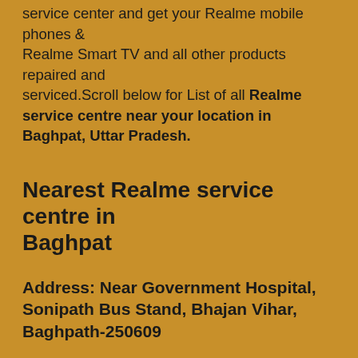service center and get your Realme mobile phones & Realme Smart TV and all other products repaired and serviced.Scroll below for List of all Realme service centre near your location in Baghpat, Uttar Pradesh.
Nearest Realme service centre in Baghpat
Address: Near Government Hospital, Sonipath Bus Stand, Bhajan Vihar, Baghpath-250609
Realme care no Baghpat: 8267010055/8279459575
Visit authorized Realme care centre for all Realme